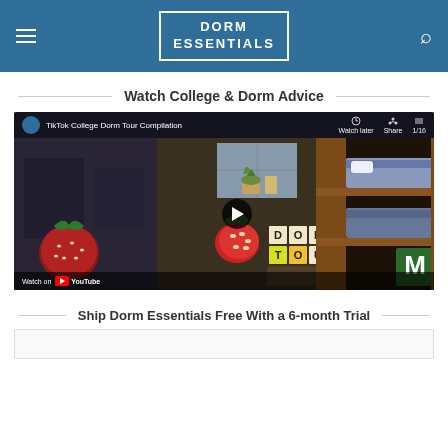DORM ESSENTIALS
Watch College & Dorm Advice
[Figure (screenshot): YouTube video thumbnail showing TikTok College Dorm Tour Compilation playlist with dorm room scenes, strawberry decorations, wooden letter blocks spelling DORM TOUR, and a bunk bed]
Ship Dorm Essentials Free With a 6-month Trial